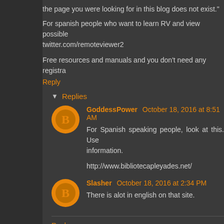the page you were looking for in this blog does not exist."
For spanish people who want to learn RV and view possible twitter.com/remoteviewer2
Free resources and manuals and you don't need any registra
Reply
▼ Replies
GoddessPower October 18, 2016 at 8:51 AM
For Spanish speaking people, look at this. Use information.
http://www.bibliotecapleyades.net/
Slasher October 18, 2016 at 2:34 PM
There is alot in english on that site.
Reply
spirittoo October 17, 2016 at 6:13 PM